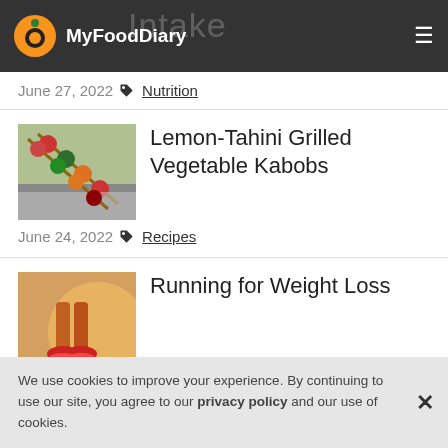MyFoodDiary
June 27, 2022  Nutrition
Lemon-Tahini Grilled Vegetable Kabobs
June 24, 2022  Recipes
Running for Weight Loss
June 22, 2022  Exercise, Weight Loss
We use cookies to improve your experience. By continuing to use our site, you agree to our privacy policy and our use of cookies.